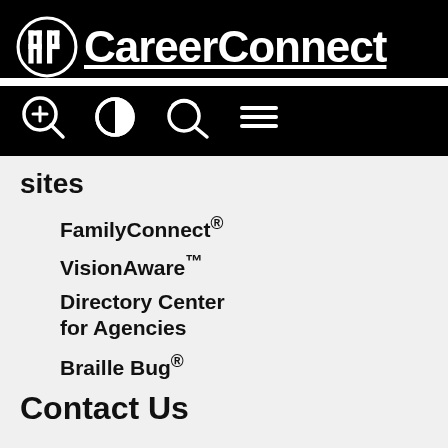[Figure (logo): APH CareerConnect logo with APH circular logo icon and 'CareerConnect' text underlined, on black background]
[Figure (infographic): Toolbar with four icons: zoom-in magnifier, contrast/half-circle, search magnifier with open top, and hamburger menu lines — all white on black background]
sites
FamilyConnect®
VisionAware™
Directory Center for Agencies
Braille Bug®
Contact Us
[Figure (logo): APH circular logo (partial, cropped at bottom of page)]